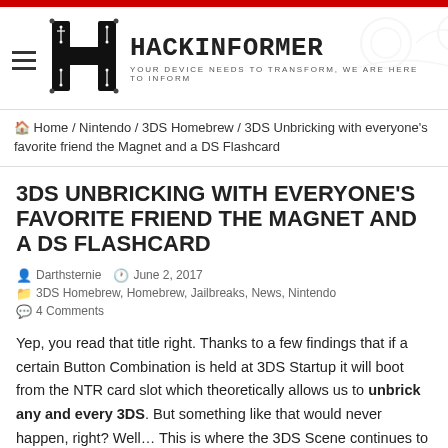HackInformer — YOUR DEVICE NEEDS TO TRANSFORM, WE ARE HERE TO INFORM
Home / Nintendo / 3DS Homebrew / 3DS Unbricking with everyone's favorite friend the Magnet and a DS Flashcard
3DS UNBRICKING WITH EVERYONE'S FAVORITE FRIEND THE MAGNET AND A DS FLASHCARD
Darthsternie  June 2, 2017
3DS Homebrew, Homebrew, Jailbreaks, News, Nintendo
4 Comments
Yep, you read that title right. Thanks to a few findings that if a certain Button Combination is held at 3DS Startup it will boot from the NTR card slot which theoretically allows us to unbrick any and every 3DS. But something like that would never happen, right? Well… This is where the 3DS Scene continues to amaze me every time. They